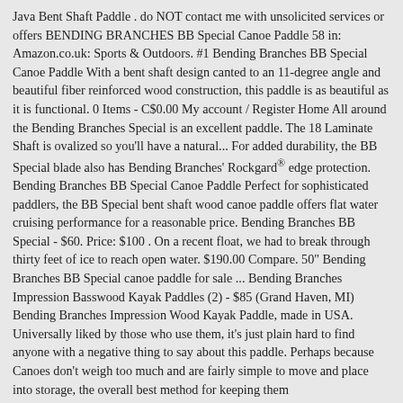Java Bent Shaft Paddle . do NOT contact me with unsolicited services or offers BENDING BRANCHES BB Special Canoe Paddle 58 in: Amazon.co.uk: Sports & Outdoors. #1 Bending Branches BB Special Canoe Paddle With a bent shaft design canted to an 11-degree angle and beautiful fiber reinforced wood construction, this paddle is as beautiful as it is functional. 0 Items - C$0.00 My account / Register Home All around the Bending Branches Special is an excellent paddle. The 18 Laminate Shaft is ovalized so you'll have a natural... For added durability, the BB Special blade also has Bending Branches' Rockgard® edge protection. Bending Branches BB Special Canoe Paddle Perfect for sophisticated paddlers, the BB Special bent shaft wood canoe paddle offers flat water cruising performance for a reasonable price. Bending Branches BB Special - $60. Price: $100 . On a recent float, we had to break through thirty feet of ice to reach open water. $190.00 Compare. 50" Bending Branches BB Special canoe paddle for sale ... Bending Branches Impression Basswood Kayak Paddles (2) - $85 (Grand Haven, MI) Bending Branches Impression Wood Kayak Paddle, made in USA. Universally liked by those who use them, it's just plain hard to find anyone with a negative thing to say about this paddle. Perhaps because Canoes don't weigh too much and are fairly simple to move and place into storage, the overall best method for keeping them